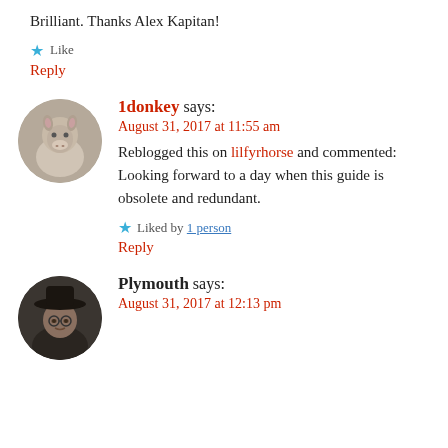Brilliant. Thanks Alex Kapitan!
Like
Reply
[Figure (photo): Circular avatar of a donkey (1donkey)]
1donkey says:
August 31, 2017 at 11:55 am
Reblogged this on lilfyrhorse and commented:
Looking forward to a day when this guide is obsolete and redundant.
Liked by 1 person
Reply
[Figure (photo): Circular avatar of Plymouth user wearing a hat]
Plymouth says:
August 31, 2017 at 12:13 pm